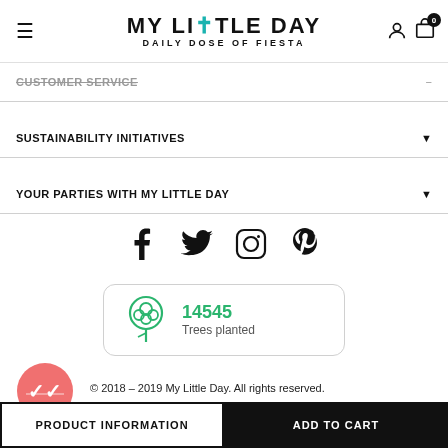MY LITTLE DAY - DAILY DOSE OF FIESTA
CUSTOMER SERVICE
SUSTAINABILITY INITIATIVES
YOUR PARTIES WITH MY LITTLE DAY
[Figure (other): Social media icons: Facebook, Twitter, Instagram, Pinterest]
[Figure (infographic): Trees planted badge showing 14545 trees planted with tree icon]
[Figure (logo): Coral/pink circular badge with double checkmark icon]
© 2018 - 2019 My Little Day. All rights reserved.
PRODUCT INFORMATION
ADD TO CART